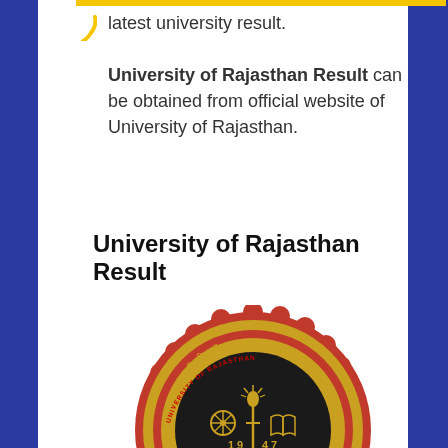latest university result. University of Rajasthan Result can be obtained from official website of University of Rajasthan.
University of Rajasthan Result
[Figure (logo): University of Rajasthan official seal/logo - circular emblem with red scalloped border, gold ring with Hindi and English text reading 'University of Rajasthan', black center with torch, dharma wheel, open book, and year 1947]